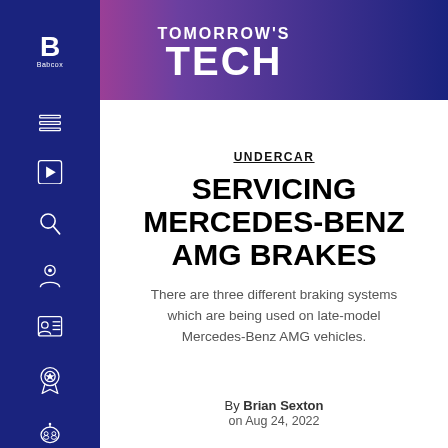TOMORROW'S TECH
UNDERCAR
SERVICING MERCEDES-BENZ AMG BRAKES
There are three different braking systems which are being used on late-model Mercedes-Benz AMG vehicles.
By Brian Sexton on Aug 24, 2022